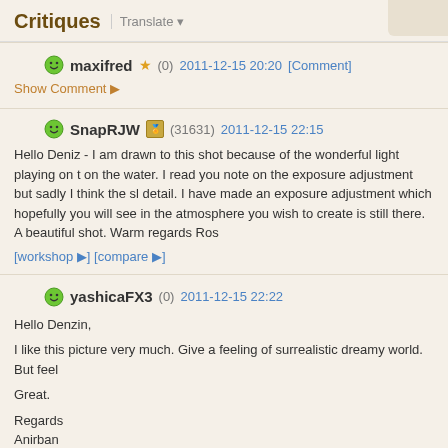Critiques | Translate
maxifred (0) 2011-12-15 20:20 [Comment]
Show Comment
SnapRJW (31631) 2011-12-15 22:15
Hello Deniz - I am drawn to this shot because of the wonderful light playing on t on the water. I read you note on the exposure adjustment but sadly I think the sl detail. I have made an exposure adjustment which hopefully you will see in the atmosphere you wish to create is still there. A beautiful shot. Warm regards Ros
[workshop] [compare]
yashicaFX3 (0) 2011-12-15 22:22
Hello Denzin,

I like this picture very much. Give a feeling of surrealistic dreamy world. But feel

Great.

Regards
Anirban